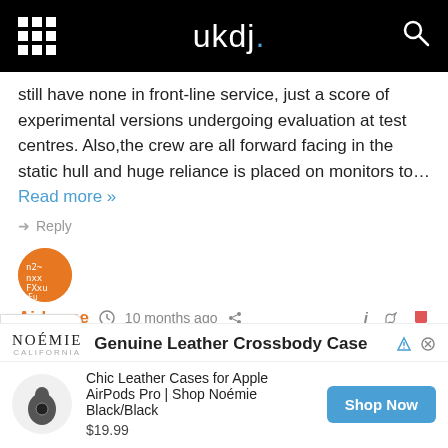ukdj.
still have none in front-line service, just a score of experimental versions undergoing evaluation at test centres. Also,the crew are all forward facing in the static hull and huge reliance is placed on monitors to… Read more »
Reply
Airborne  10 months ago   Reply to AlexS   Nope.
Reply
[Figure (screenshot): Advertisement for Noémie: Genuine Leather Crossbody Case. Chic Leather Cases for Apple AirPods Pro | Shop Noémie Black/Black. $19.99. Shop Now button.]